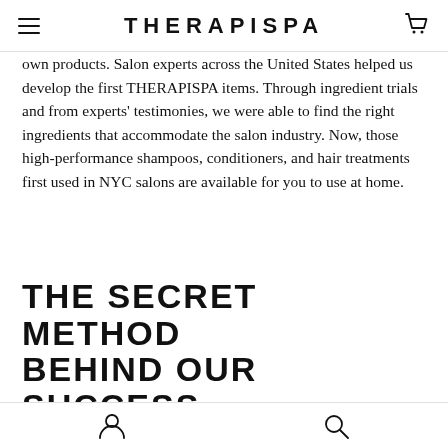THERAPISPA
own products. Salon experts across the United States helped us develop the first THERAPISPA items. Through ingredient trials and from experts' testimonies, we were able to find the right ingredients that accommodate the salon industry. Now, those high-performance shampoos, conditioners, and hair treatments first used in NYC salons are available for you to use at home.
THE SECRET METHOD BEHIND OUR SUCCESS
THERAPISPA compiles the know-how, desire, and rea...